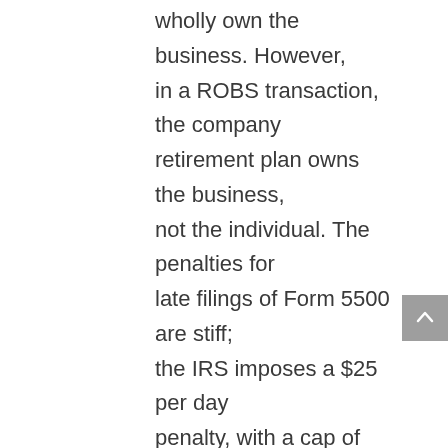wholly own the business. However, in a ROBS transaction, the company retirement plan owns the business, not the individual. The penalties for late filings of Form 5500 are stiff; the IRS imposes a $25 per day penalty, with a cap of $15,000 and the Department of Labor imposes a penalty of $1,100 per day with no maximum!
Final Thoughts
It should be evident that this process is complicated and fraught with peril. If the plan is found to be...